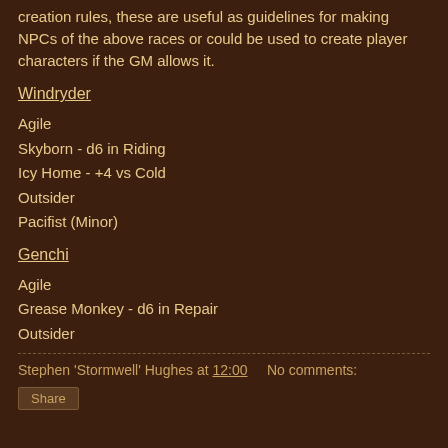creation rules, these are useful as guidelines for making NPCs of the above races or could be used to create player characters if the GM allows it.
Windryder
Agile
Skyborn - d6 in Riding
Icy Home - +4 vs Cold
Outsider
Pacifist (Minor)
Genchi
Agile
Grease Monkey - d6 in Repair
Outsider
Stephen 'Stormwell' Hughes at 12:00    No comments:
Share